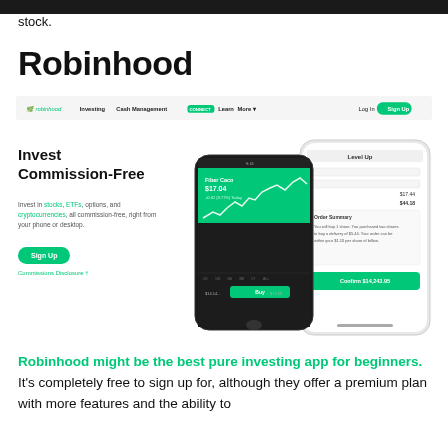stock.
Robinhood
[Figure (screenshot): Robinhood website screenshot showing navigation bar with logo, Investing, Cash Management (with CONNECT badge), Learn, More+ links, and Log In / Sign Up buttons on right]
Invest Commission-Free
Invest in stocks, ETFs, options, and cryptocurrencies, all commission-free, right from your phone or desktop.
Sign Up
Commissions Disclosure †
[Figure (photo): Two smartphone mockups showing the Robinhood app — one dark phone displaying a stock chart (Fiber Caco $17.04) in green, and one white/light phone showing an order summary screen with a Buy It button]
Robinhood might be the best pure investing app for beginners. It's completely free to sign up for, although they offer a premium plan with more features and the ability to